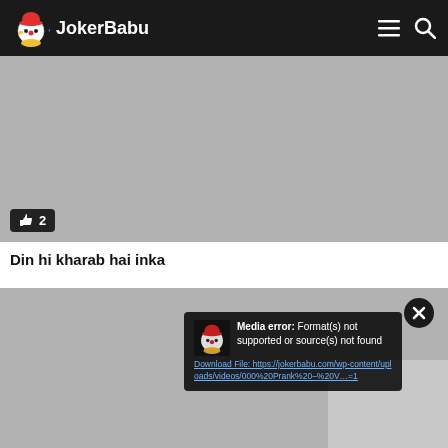JokerBabu
[Figure (screenshot): Video player placeholder with grey background and like button showing count 2]
Din hi kharab hai inka
[Figure (screenshot): Second video player placeholder with grey background showing a media error popup: 'Media error: Format(s) not supported or source(s) not found' with download link and close button]